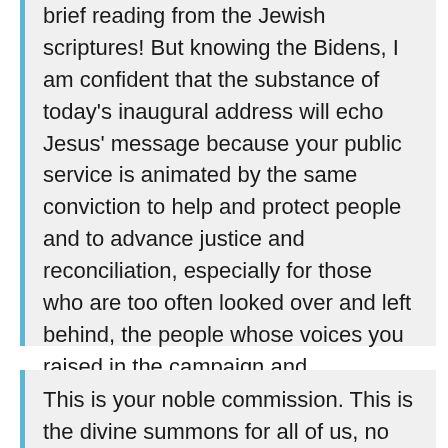brief reading from the Jewish scriptures! But knowing the Bidens, I am confident that the substance of today's inaugural address will echo Jesus' message because your public service is animated by the same conviction to help and protect people and to advance justice and reconciliation, especially for those who are too often looked over and left behind, the people whose voices you raised in the campaign and throughout your public life.
This is your noble commission. This is the divine summons for all of us, no matter our faith background or walk